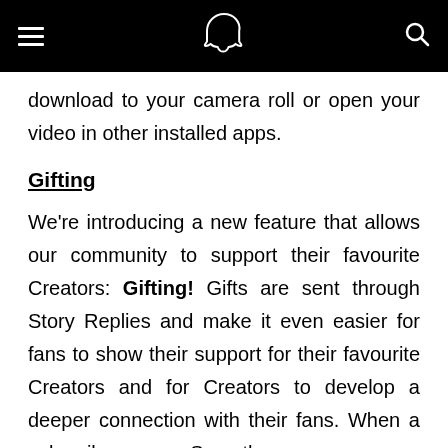Snapchat header navigation bar
download to your camera roll or open your video in other installed apps.
Gifting
We're introducing a new feature that allows our community to support their favourite Creators: Gifting! Gifts are sent through Story Replies and make it even easier for fans to show their support for their favourite Creators and for Creators to develop a deeper connection with their fans. When a subscriber sees a Snap they